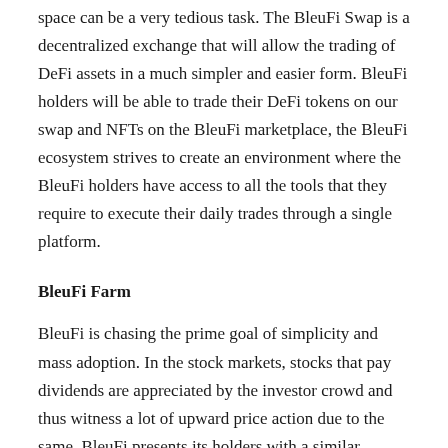space can be a very tedious task. The BleuFi Swap is a decentralized exchange that will allow the trading of DeFi assets in a much simpler and easier form. BleuFi holders will be able to trade their DeFi tokens on our swap and NFTs on the BleuFi marketplace, the BleuFi ecosystem strives to create an environment where the BleuFi holders have access to all the tools that they require to execute their daily trades through a single platform.
BleuFi Farm
BleuFi is chasing the prime goal of simplicity and mass adoption. In the stock markets, stocks that pay dividends are appreciated by the investor crowd and thus witness a lot of upward price action due to the same. BleuFi presents its holders with a similar opportunity by introducing BleuFi Farm- rewards the holders with an opportunity to make passive income that